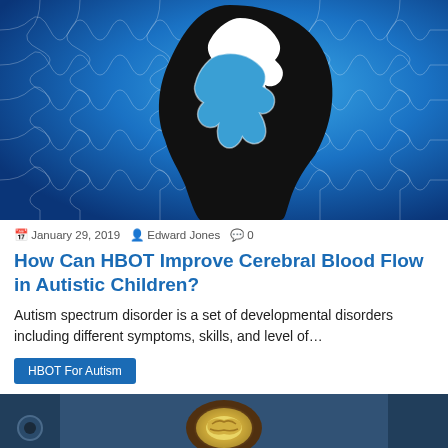[Figure (illustration): Blue puzzle background with a black silhouette of a child's head profile. A puzzle piece is being lifted out of the head silhouette, with a white missing-piece gap visible. The puzzle background is blue with lighter blue puzzle piece outlines.]
January 29, 2019   Edward Jones   0
How Can HBOT Improve Cerebral Blood Flow in Autistic Children?
Autism spectrum disorder is a set of developmental disorders including different symptoms, skills, and level of…
HBOT For Autism
[Figure (photo): Partial view of a hyperbaric oxygen chamber interior with a glowing brain model visible, metallic equipment in blue-tinted lighting.]